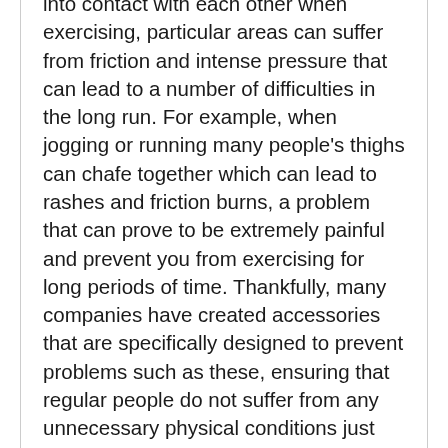into contact with each other when exercising, particular areas can suffer from friction and intense pressure that can lead to a number of difficulties in the long run. For example, when jogging or running many people's thighs can chafe together which can lead to rashes and friction burns, a problem that can prove to be extremely painful and prevent you from exercising for long periods of time. Thankfully, many companies have created accessories that are specifically designed to prevent problems such as these, ensuring that regular people do not suffer from any unnecessary physical conditions just because they are trying to work out.